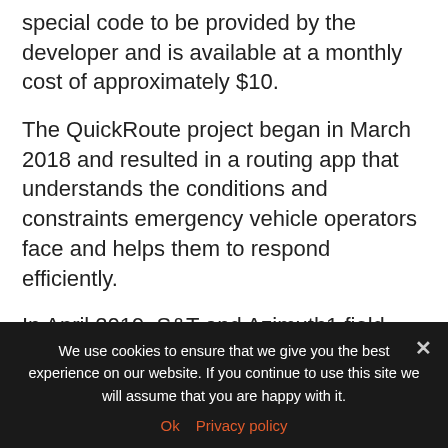special code to be provided by the developer and is available at a monthly cost of approximately $10.
The QuickRoute project began in March 2018 and resulted in a routing app that understands the conditions and constraints emergency vehicle operators face and helps them to respond efficiently.
In April 2019, S&T and Azimuth1 field-tested QuickRoute with first responders and transportation stakeholders at a DHS federal law enforcement training facility in Maryland. The test plan, designed
We use cookies to ensure that we give you the best experience on our website. If you continue to use this site we will assume that you are happy with it.
Ok  Privacy policy